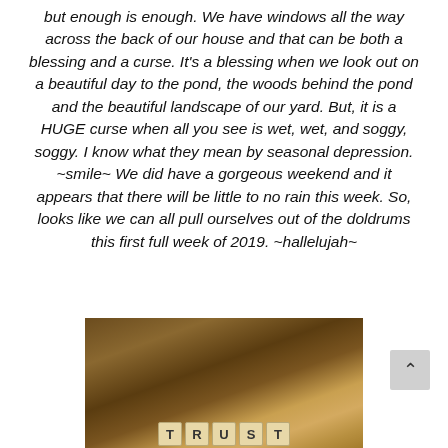but enough is enough.  We have windows all the way across the back of our house and that can be both a blessing and a curse.  It's a blessing when we look out on a beautiful day to the pond, the woods behind the pond and the beautiful landscape of our yard.  But, it is a HUGE curse when all you see is wet, wet, and soggy, soggy.  I know what they mean by seasonal depression. ~smile~  We did have a gorgeous weekend and it appears that there will be little to no rain this week.  So, looks like we can all pull ourselves out of the doldrums this first full week of 2019. ~hallelujah~
[Figure (photo): A sepia-toned photo of Scrabble tiles spelling TRUST on a rocky/stone surface]